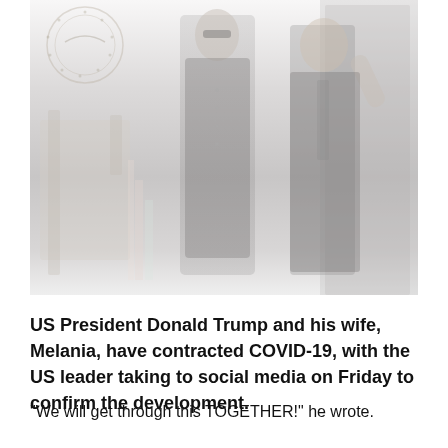[Figure (photo): Faded/washed-out photo of US President Donald Trump and his wife Melania, standing together, Melania wearing sunglasses and dark outfit, Trump waving, with a Presidential seal visible in the background.]
US President Donald Trump and his wife, Melania, have contracted COVID-19, with the US leader taking to social media on Friday to confirm the development.
“We will get through this TOGETHER!” he wrote.